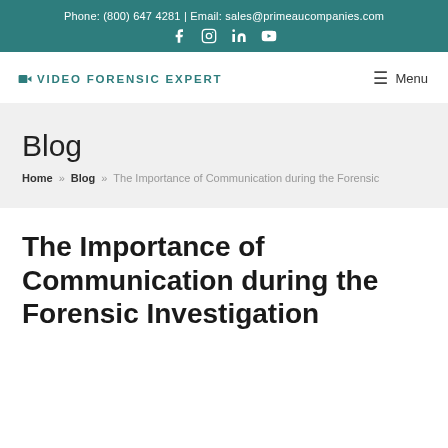Phone: (800) 647 4281 | Email: sales@primeaucompanies.com
[Figure (logo): VIDEO FORENSIC EXPERT logo with camera icon]
Blog
Home » Blog » The Importance of Communication during the Forensic
The Importance of Communication during the Forensic Investigation